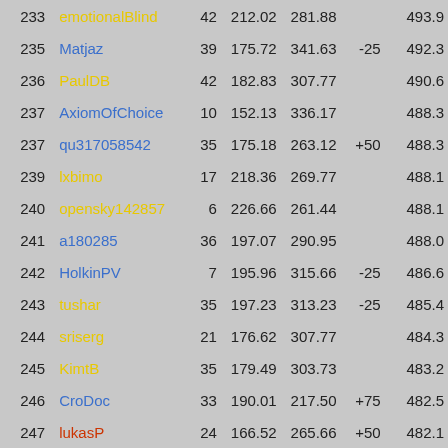| Rank | Name | Col3 | Col4 | Col5 | Bonus | Total |
| --- | --- | --- | --- | --- | --- | --- |
| 233 | emotionalBlind | 42 | 212.02 | 281.88 |  | 493.9 |
| 235 | Matjaz | 39 | 175.72 | 341.63 | -25 | 492.3 |
| 236 | PaulDB | 42 | 182.83 | 307.77 |  | 490.6 |
| 237 | AxiomOfChoice | 10 | 152.13 | 336.17 |  | 488.3 |
| 237 | qu317058542 | 35 | 175.18 | 263.12 | +50 | 488.3 |
| 239 | lxbimo | 17 | 218.36 | 269.77 |  | 488.1 |
| 240 | opensky142857 | 6 | 226.66 | 261.44 |  | 488.1 |
| 241 | a180285 | 36 | 197.07 | 290.95 |  | 488.0 |
| 242 | HolkinPV | 7 | 195.96 | 315.66 | -25 | 486.6 |
| 243 | tushar | 35 | 197.23 | 313.23 | -25 | 485.4 |
| 244 | sriserg | 21 | 176.62 | 307.77 |  | 484.3 |
| 245 | KimtB | 35 | 179.49 | 303.73 |  | 483.2 |
| 246 | CroDoc | 33 | 190.01 | 217.50 | +75 | 482.5 |
| 247 | lukasP | 24 | 166.52 | 265.66 | +50 | 482.1 |